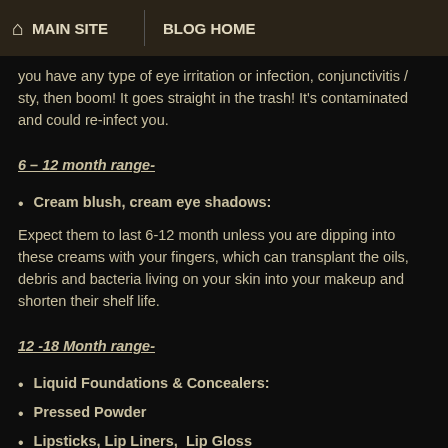MAIN SITE  BLOG HOME
you have any type of eye irritation or infection, conjunctivitis / sty, then boom! It goes straight in the trash! It's contaminated and could re-infect you.
6 – 12 month range-
Cream blush, cream eye shadows:
Expect them to last 6-12 month unless you are dipping into these creams with your fingers, which can transplant the oils, debris and bacteria living on your skin into your makeup and shorten their shelf life.
12 -18 Month range-
Liquid Foundations & Concealers:
Pressed Powder
Lipsticks, Lip Liners,  Lip Gloss